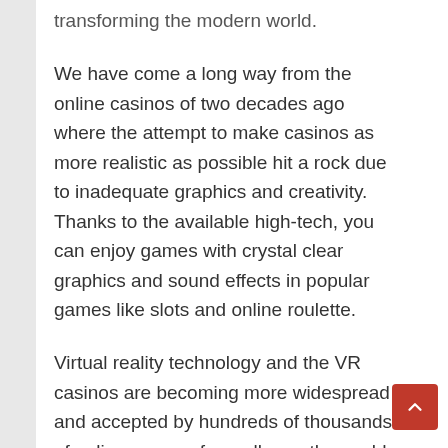transforming the modern world.
We have come a long way from the online casinos of two decades ago where the attempt to make casinos as more realistic as possible hit a rock due to inadequate graphics and creativity. Thanks to the available high-tech, you can enjoy games with crystal clear graphics and sound effects in popular games like slots and online roulette.
Virtual reality technology and the VR casinos are becoming more widespread and accepted by hundreds of thousands of online gamers from all over the world. Some gamblers prefer playing at a land-based casino where they are free to walk around and choose their favorite slot machines or table games over the online